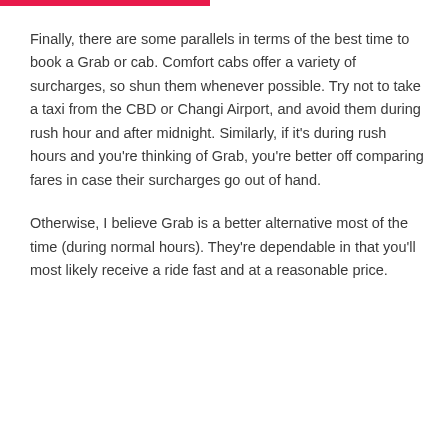Finally, there are some parallels in terms of the best time to book a Grab or cab. Comfort cabs offer a variety of surcharges, so shun them whenever possible. Try not to take a taxi from the CBD or Changi Airport, and avoid them during rush hour and after midnight. Similarly, if it's during rush hours and you're thinking of Grab, you're better off comparing fares in case their surcharges go out of hand.
Otherwise, I believe Grab is a better alternative most of the time (during normal hours). They're dependable in that you'll most likely receive a ride fast and at a reasonable price.